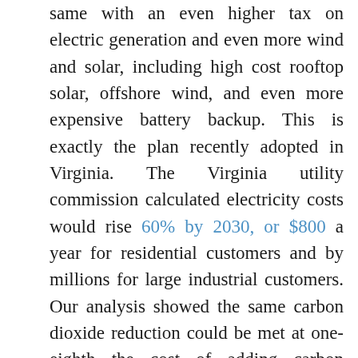same with an even higher tax on electric generation and even more wind and solar, including high cost rooftop solar, offshore wind, and even more expensive battery backup. This is exactly the plan recently adopted in Virginia. The Virginia utility commission calculated electricity costs would rise 60% by 2030, or $800 a year for residential customers and by millions for large industrial customers. Our analysis showed the same carbon dioxide reduction could be met at one-eighth the cost of adding carbon dioxide capture to existing coal and natural gas facilities. The carbon capture option leaves reliable generation in place instead of replacing it with intermittent wind and solar. Longer term, zero emission, reliable